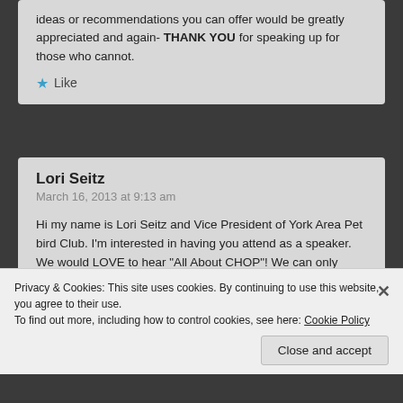ideas or recommendations you can offer would be greatly appreciated and again- THANK YOU for speaking up for those who cannot.
★ Like
Lori Seitz
March 16, 2013 at 9:13 am
Hi my name is Lori Seitz and Vice President of York Area Pet bird Club. I'm interested in having you attend as a speaker. We would LOVE to hear "All About CHOP"! We can only afford to pay you a small amount of money for gas and would love to take
Privacy & Cookies: This site uses cookies. By continuing to use this website, you agree to their use.
To find out more, including how to control cookies, see here: Cookie Policy
Close and accept